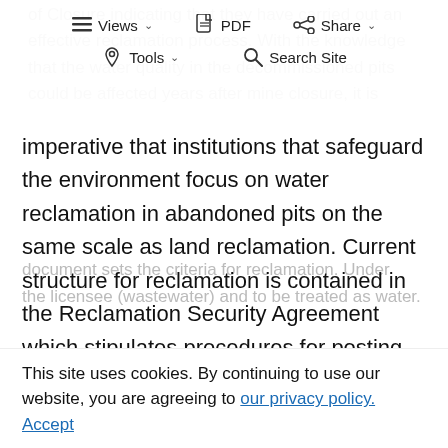Views PDF Share Tools Search Site (toolbar/navigation)
of Closure indicating that they have carried out an effective reclamation process. With the knowledge that the water quality in the decommissioned pits could be affected years after mine closure, it is imperative that institutions that safeguard the environment focus on water reclamation in abandoned pits on the same scale as land reclamation. Current structure for reclamation is contained in the Reclamation Security Agreement which stipulates procedures for posting of a Reclamation Bond with the Bank and how to redeem the bonded amount. Schedule 2 of the document sets the criteria for reclamation. Under
This site uses cookies. By continuing to use our website, you are agreeing to our privacy policy. Accept